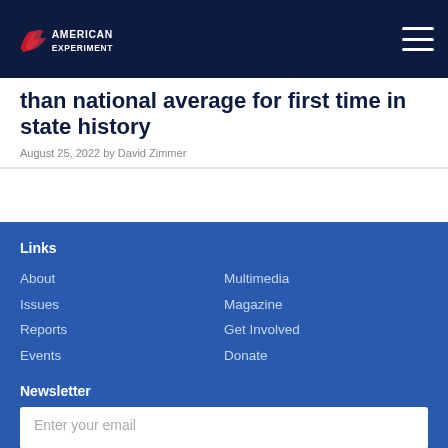American Experiment
than national average for first time in state history
August 25, 2022 by David Zimmer
Links
About
Issues
Reports
Events
Multimedia
Magazine
Get Involved
Donate
Newsletter
Enter your email
SIGN UP
Social